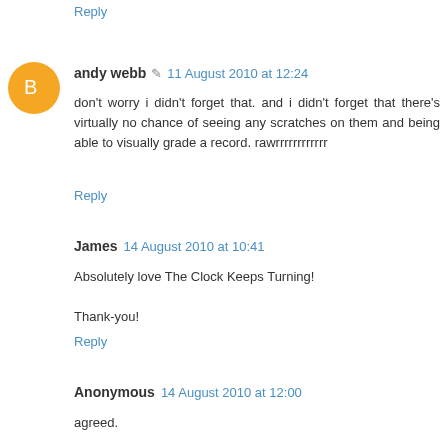Reply
andy webb  11 August 2010 at 12:24
don't worry i didn't forget that. and i didn't forget that there's virtually no chance of seeing any scratches on them and being able to visually grade a record. rawrrrrrrrrrrrr
Reply
James  14 August 2010 at 10:41
Absolutely love The Clock Keeps Turning!
Thank-you!
Reply
Anonymous  14 August 2010 at 12:00
agreed.